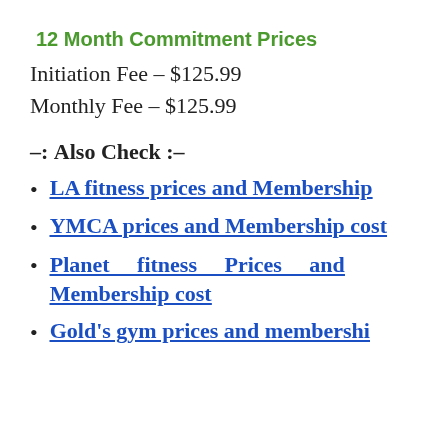12 Month Commitment Prices
Initiation Fee – $125.99
Monthly Fee – $125.99
-: Also Check :-
LA fitness prices and Membership
YMCA prices and Membership cost
Planet fitness Prices and Membership cost
Gold's gym prices and membership ...